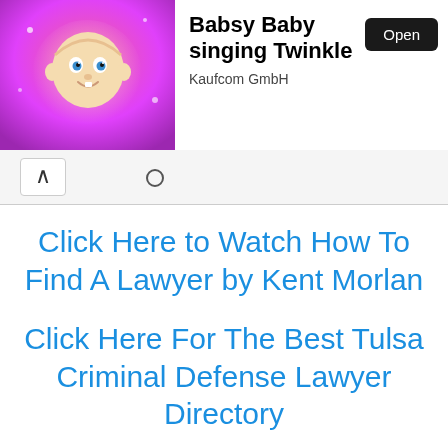[Figure (screenshot): Mobile app advertisement banner for 'Babsy Baby singing Twinkle' by Kaufcom GmbH, showing animated baby character on pink background with an 'Open' button]
Click Here to Watch How To Find A Lawyer by Kent Morlan
Click Here For The Best Tulsa Criminal Defense Lawyer Directory